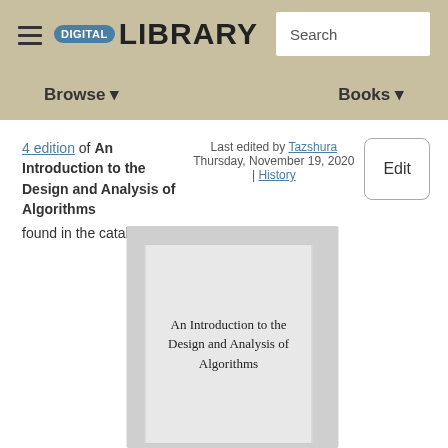DIGITAL LIBRARY  Search  Browse  Books
4 edition of An Introduction to the Design and Analysis of Algorithms found in the catalog.
Last edited by Tazshura
Thursday, November 19, 2020 | History
Edit
[Figure (illustration): Book cover placeholder showing title 'An Introduction to the Design and Analysis of Algorithms' on a grey background]